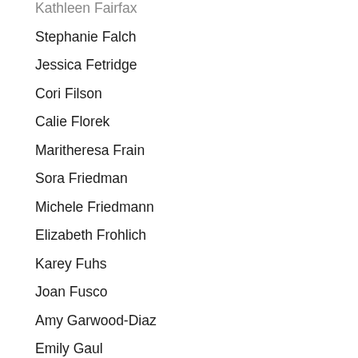Kathleen Fairfax
Stephanie Falch
Jessica Fetridge
Cori Filson
Calie Florek
Maritheresa Frain
Sora Friedman
Michele Friedmann
Elizabeth Frohlich
Karey Fuhs
Joan Fusco
Amy Garwood-Diaz
Emily Gaul
Hilary Gifford
Kimberly Gillette
Yosefa Gilon